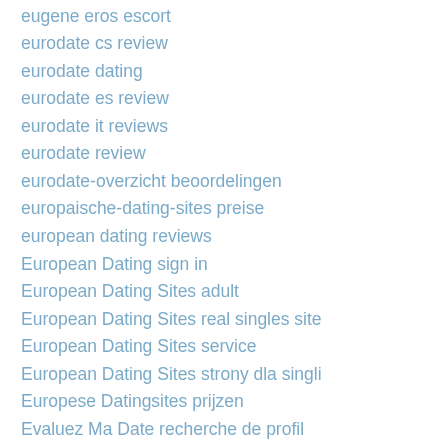eugene eros escort
eurodate cs review
eurodate dating
eurodate es review
eurodate it reviews
eurodate review
eurodate-overzicht beoordelingen
europaische-dating-sites preise
european dating reviews
European Dating sign in
European Dating Sites adult
European Dating Sites real singles site
European Dating Sites service
European Dating Sites strony dla singli
Europese Datingsites prijzen
Evaluez Ma Date recherche de profil
evansville escort